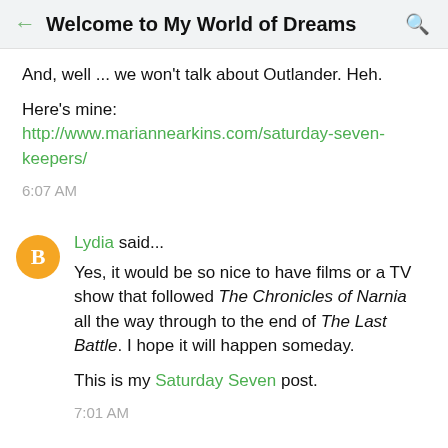Welcome to My World of Dreams
And, well ... we won't talk about Outlander. Heh.
Here's mine: http://www.mariannearkins.com/saturday-seven-keepers/
6:07 AM
Lydia said...
Yes, it would be so nice to have films or a TV show that followed The Chronicles of Narnia all the way through to the end of The Last Battle. I hope it will happen someday.
This is my Saturday Seven post.
7:01 AM